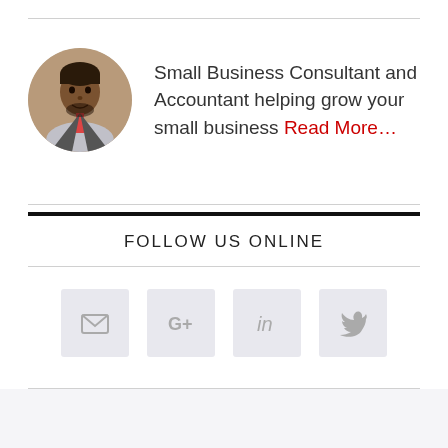[Figure (photo): Circular profile photo of a man in business attire (suit and tie), dark complexion, short hair.]
Small Business Consultant and Accountant helping grow your small business Read More…
FOLLOW US ONLINE
[Figure (infographic): Four social media icon buttons in gray square tiles: Email (envelope), Google+ (G+), LinkedIn (in), Twitter (bird)]